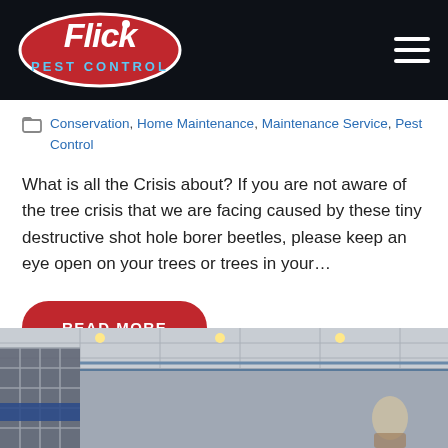Flick Pest Control
Conservation, Home Maintenance, Maintenance Service, Pest Control
What is all the Crisis about? If you are not aware of the tree crisis that we are facing caused by these tiny destructive shot hole borer beetles, please keep an eye open on your trees or trees in your…
READ MORE
[Figure (photo): Interior industrial or commercial building with metal framework, ceilings, lighting and a person visible in the lower right area.]